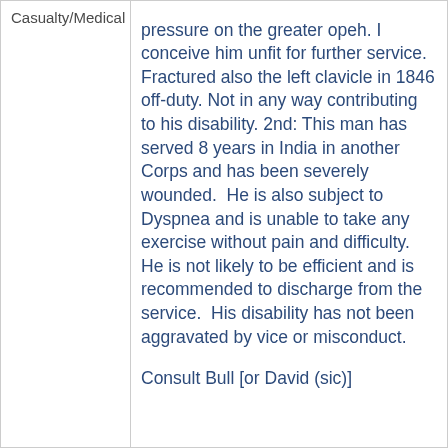| Category | Description |
| --- | --- |
| Casualty/Medical | pressure on the greater opeh. I conceive him unfit for further service. Fractured also the left clavicle in 1846 off-duty. Not in any way contributing to his disability. 2nd: This man has served 8 years in India in another Corps and has been severely wounded.  He is also subject to Dyspnea and is unable to take any exercise without pain and difficulty.  He is not likely to be efficient and is recommended to discharge from the service.  His disability has not been aggravated by vice or misconduct. Consult Bull [or David (sic)] |